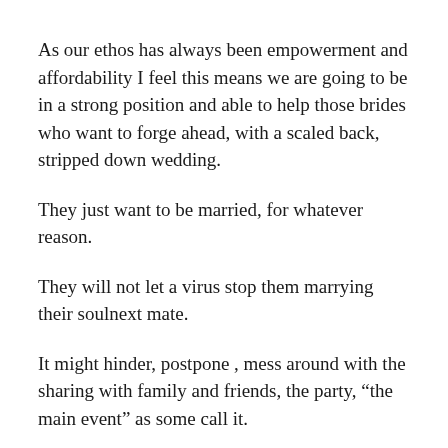As our ethos has always been empowerment and affordability I feel this means we are going to be in a strong position and able to help those brides who want to forge ahead, with a scaled back, stripped down wedding.
They just want to be married, for whatever reason.
They will not let a virus stop them marrying their soulnext mate.
It might hinder, postpone , mess around with the sharing with family and friends, the party, “the main event” as some call it.